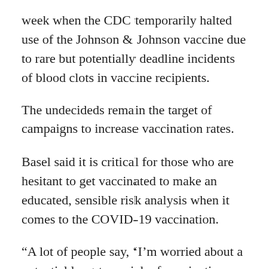week when the CDC temporarily halted use of the Johnson & Johnson vaccine due to rare but potentially deadline incidents of blood clots in vaccine recipients.
The undecideds remain the target of campaigns to increase vaccination rates.
Basel said it is critical for those who are hesitant to get vaccinated to make an educated, sensible risk analysis when it comes to the COVID-19 vaccination.
“A lot of people say, ‘I’m worried about a potential long-term risk of vaccinations and I’d rather avoid those if possible,’” Basel said.